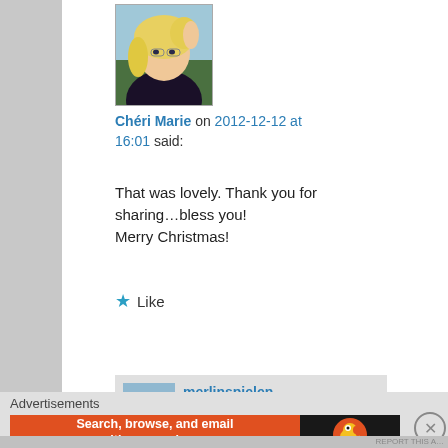[Figure (photo): Profile photo of a blonde woman posing with hand near head]
Chéri Marie on 2012-12-12 at 16:01 said:
That was lovely. Thank you for sharing…bless you!
Merry Christmas!
★ Like
Reply ↓
[Figure (photo): Profile photo of merlinspielen showing a person near a mountain lake]
merlinspielen on 2012-12-12 at 21:29 said:
Advertisements
[Figure (other): DuckDuckGo advertisement banner: Search, browse, and email with more privacy. All in One Free App.]